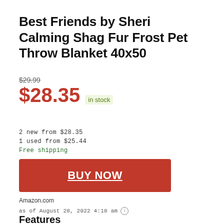Best Friends by Sheri Calming Shag Fur Frost Pet Throw Blanket 40x50
$29.99
$28.35 in stock
2 new from $28.35
1 used from $25.44
Free shipping
BUY NOW
Amazon.com
as of August 28, 2022 4:18 am
Features